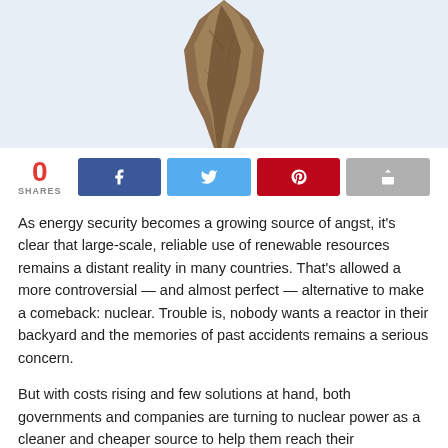[Figure (photo): Partial view of a tree trunk or rocky formation against a light blue-gray background, cropped at the top of the page]
0 SHARES
As energy security becomes a growing source of angst, it's clear that large-scale, reliable use of renewable resources remains a distant reality in many countries. That's allowed a more controversial — and almost perfect — alternative to make a comeback: nuclear. Trouble is, nobody wants a reactor in their backyard and the memories of past accidents remains a serious concern.
But with costs rising and few solutions at hand, both governments and companies are turning to nuclear power as a cleaner and cheaper source to help them reach their